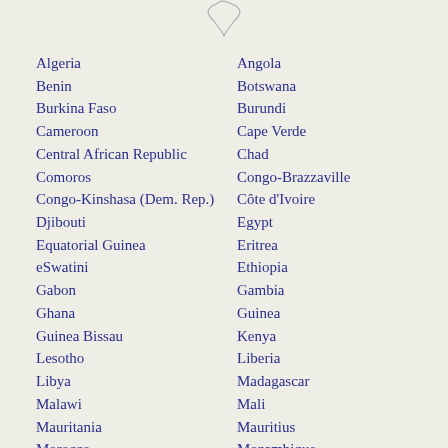[Figure (map): Outline map of Africa (partial, top portion visible)]
Algeria
Angola
Benin
Botswana
Burkina Faso
Burundi
Cameroon
Cape Verde
Central African Republic
Chad
Comoros
Congo-Brazzaville
Congo-Kinshasa (Dem. Rep.)
Côte d'Ivoire
Djibouti
Egypt
Equatorial Guinea
Eritrea
eSwatini
Ethiopia
Gabon
Gambia
Ghana
Guinea
Guinea Bissau
Kenya
Lesotho
Liberia
Libya
Madagascar
Malawi
Mali
Mauritania
Mauritius
Morocco
Mozambique
Namibia
Niger
Nigeria
Rwanda
São Tomé and Principe
Senegal
Seychelles
Sierra Leone